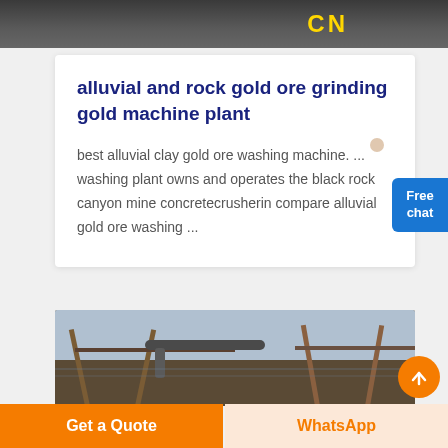[Figure (photo): Top portion of an image showing industrial equipment with yellow 'CN' text on a dark background]
alluvial and rock gold ore grinding gold machine plant
best alluvial clay gold ore washing machine. ... washing plant owns and operates the black rock canyon mine concretecrusherin compare alluvial gold ore washing ...
[Figure (photo): Industrial mining machinery, showing structural metal framework and pipes at a mining site]
Get a Quote
WhatsApp